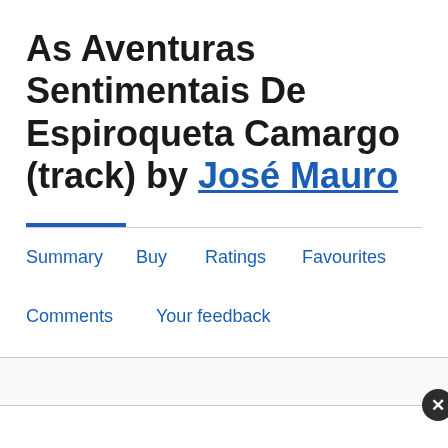As Aventuras Sentimentais De Espiroqueta Camargo (track) by José Mauro
Summary
Buy
Ratings
Favourites
Comments
Your feedback